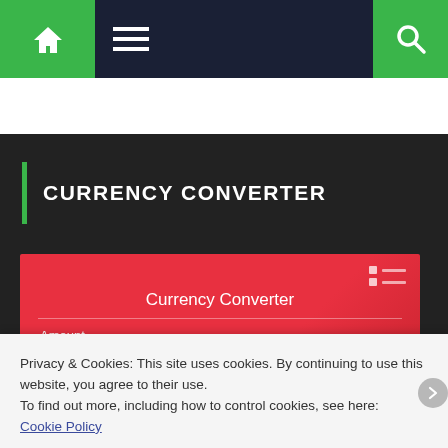Currency Converter - navigation bar with home, menu, and search icons
CURRENCY CONVERTER
[Figure (screenshot): Currency Converter widget on red background with USD amount input field showing value 1 and a refresh button]
Privacy & Cookies: This site uses cookies. By continuing to use this website, you agree to their use.
To find out more, including how to control cookies, see here:
Cookie Policy
Close and accept